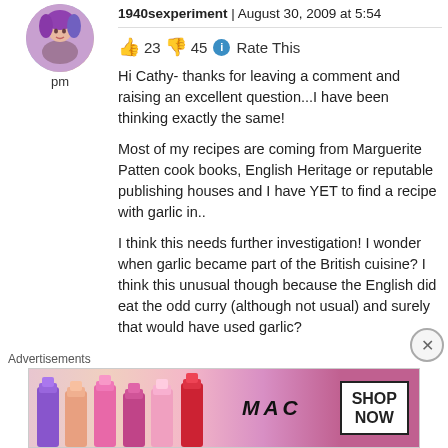[Figure (photo): Circular avatar photo of a woman with colorful hair]
pm
1940sexperiment | August 30, 2009 at 5:54 pm
👍 23 👎 45 ℹ Rate This
Hi Cathy- thanks for leaving a comment and raising an excellent question...I have been thinking exactly the same!

Most of my recipes are coming from Marguerite Patten cook books, English Heritage or reputable publishing houses and I have YET to find a recipe with garlic in..

I think this needs further investigation! I wonder when garlic became part of the British cuisine? I think this unusual though because the English did eat the odd curry (although not usual) and surely that would have used garlic?
Advertisements
[Figure (photo): MAC Cosmetics advertisement banner showing lipsticks and SHOP NOW button]